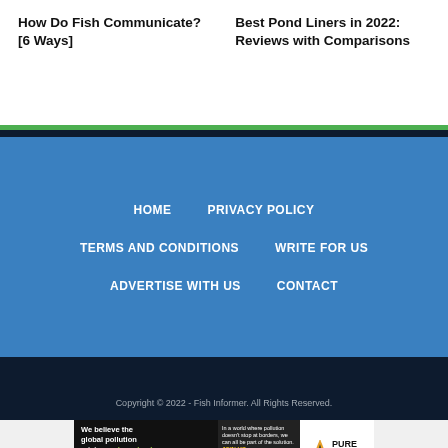How Do Fish Communicate? [6 Ways]
Best Pond Liners in 2022: Reviews with Comparisons
HOME
PRIVACY POLICY
TERMS AND CONDITIONS
WRITE FOR US
ADVERTISE WITH US
CONTACT
Copyright © 2022 - Fish Informer. All Rights Reserved.
[Figure (infographic): Pure Earth advertisement banner: 'We believe the global pollution crisis can be solved.' with text about pollution not stopping at borders and JOIN US call to action, with Pure Earth logo.]